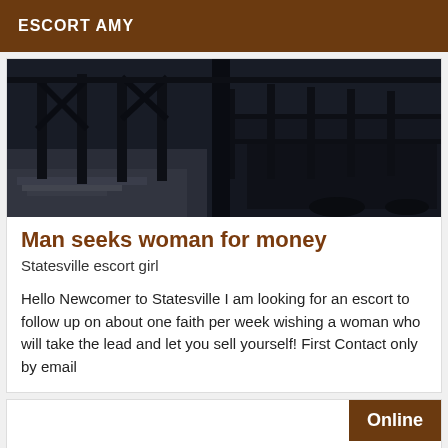ESCORT AMY
[Figure (photo): Dark street scene with metal fence/gate structures, nighttime urban environment]
Man seeks woman for money
Statesville escort girl
Hello Newcomer to Statesville I am looking for an escort to follow up on about one faith per week wishing a woman who will take the lead and let you sell yourself! First Contact only by email
Online